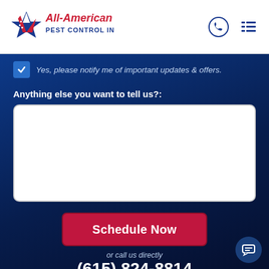[Figure (logo): All-American Pest Control Inc. logo with star-shaped A icon in red, white, and blue]
[Figure (other): Phone icon (circle with handset) and hamburger menu icon in dark navy blue]
Yes, please notify me of important updates & offers.
Anything else you want to tell us?:
Schedule Now
or call us directly
(615) 824-8814